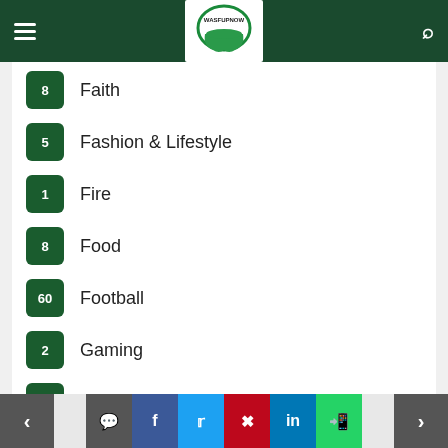WASFUPNOW (logo/header navigation)
8 Faith
5 Fashion & Lifestyle
1 Fire
8 Food
60 Football
2 Gaming
1 Golf
5 Gossip
62 Government
1 Handball
Health (partially visible)
< comment facebook twitter pinterest linkedin whatsapp >